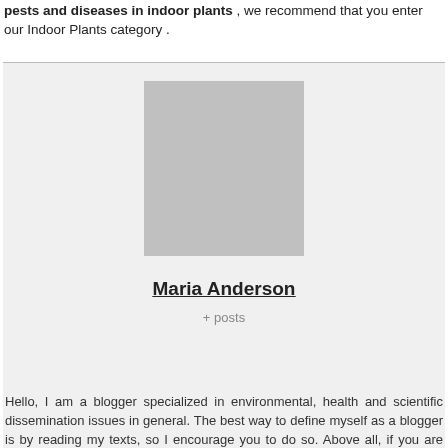pests and diseases in indoor plants , we recommend that you enter our Indoor Plants category .
[Figure (photo): Profile photo placeholder (grey square) for Maria Anderson]
Maria Anderson
+ posts
Hello, I am a blogger specialized in environmental, health and scientific dissemination issues in general. The best way to define myself as a blogger is by reading my texts, so I encourage you to do so. Above all, if you are interested in staying up to date and reflecting on these issues, both on a practical and informative level.